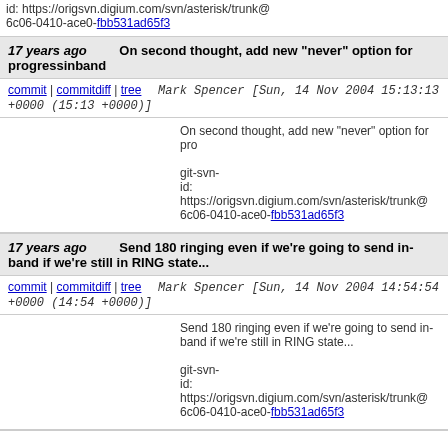id: https://origsvn.digium.com/svn/asterisk/trunk@ 6c06-0410-ace0-fbb531ad65f3
17 years ago   On second thought, add new "never" option for progressinband
commit | commitdiff | tree   Mark Spencer [Sun, 14 Nov 2004 15:13:13 +0000 (15:13 +0000)]
On second thought, add new "never" option for progressinband

git-svn-id: https://origsvn.digium.com/svn/asterisk/trunk@ 6c06-0410-ace0-fbb531ad65f3
17 years ago   Send 180 ringing even if we're going to send in-band if we're still in RING state...
commit | commitdiff | tree   Mark Spencer [Sun, 14 Nov 2004 14:54:54 +0000 (14:54 +0000)]
Send 180 ringing even if we're going to send in-band if we're still in RING state...

git-svn-id: https://origsvn.digium.com/svn/asterisk/trunk@ 6c06-0410-ace0-fbb531ad65f3